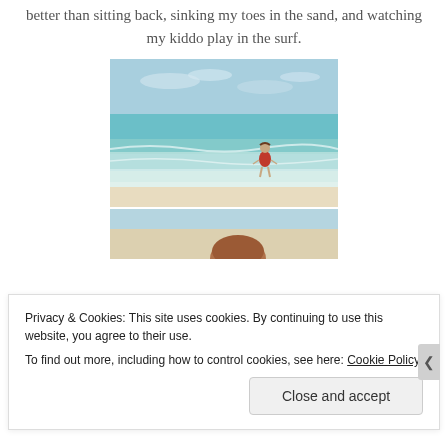better than sitting back, sinking my toes in the sand, and watching my kiddo play in the surf.
[Figure (photo): A child in a red swimsuit standing in the shallow ocean surf on a sunny beach with turquoise water and blue sky]
[Figure (photo): Partial view of a second beach photo showing a person with reddish-brown hair]
Privacy & Cookies: This site uses cookies. By continuing to use this website, you agree to their use. To find out more, including how to control cookies, see here: Cookie Policy